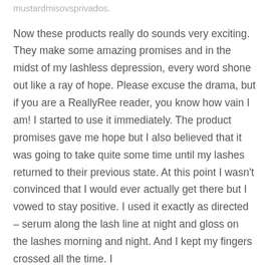mustardmisovsprivados.
Now these products really do sounds very exciting. They make some amazing promises and in the midst of my lashless depression, every word shone out like a ray of hope. Please excuse the drama, but if you are a ReallyRee reader, you know how vain I am! I started to use it immediately. The product promises gave me hope but I also believed that it was going to take quite some time until my lashes returned to their previous state. At this point I wasn't convinced that I would ever actually get there but I vowed to stay positive. I used it exactly as directed – serum along the lash line at night and gloss on the lashes morning and night. And I kept my fingers crossed all the time. I